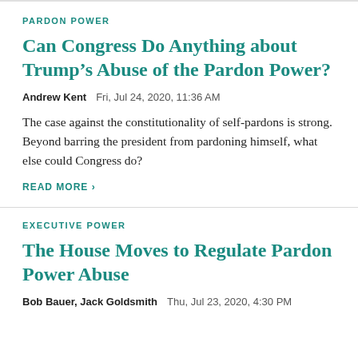PARDON POWER
Can Congress Do Anything about Trump’s Abuse of the Pardon Power?
Andrew Kent   Fri, Jul 24, 2020, 11:36 AM
The case against the constitutionality of self-pardons is strong. Beyond barring the president from pardoning himself, what else could Congress do?
READ MORE ›
EXECUTIVE POWER
The House Moves to Regulate Pardon Power Abuse
Bob Bauer, Jack Goldsmith   Thu, Jul 23, 2020, 4:30 PM